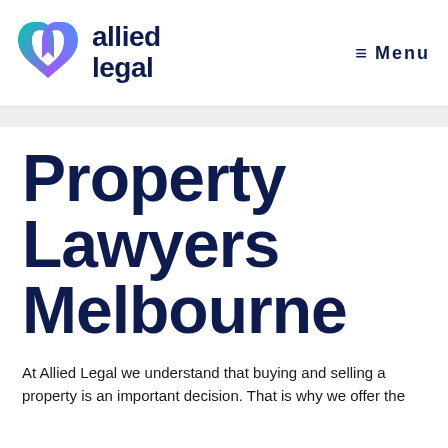[Figure (logo): Allied Legal logo with stylized X/infinity mark in teal and purple gradient, beside bold dark navy text reading 'allied legal']
≡  Menu
Property Lawyers Melbourne
At Allied Legal we understand that buying and selling a property is an important decision. That is why we offer the